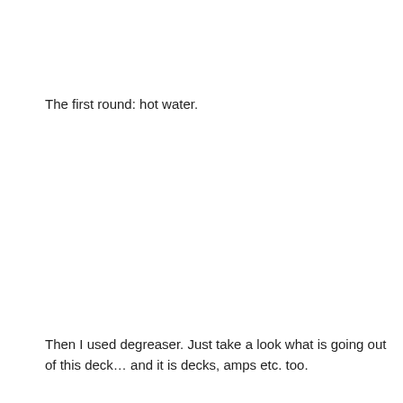The first round: hot water.
Then I used degreaser. Just take a look what is going out of this deck… and it is decks, amps etc. too.